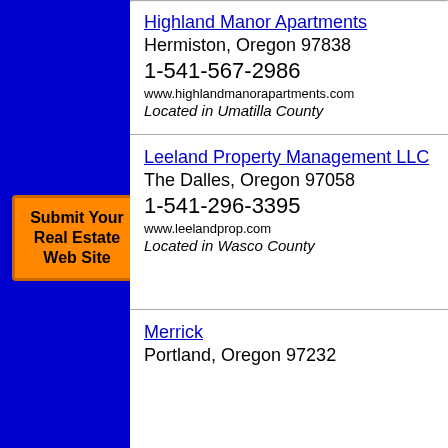[Figure (other): Blue sidebar with orange Submit Your Real Estate Web Site button]
Highland Manor Apartments
Hermiston, Oregon 97838
1-541-567-2986
www.highlandmanorapartments.com
Located in Umatilla County
Leeland Property Management LLC
The Dalles, Oregon 97058
1-541-296-3395
www.leelandprop.com
Located in Wasco County
Merrick
Portland, Oregon 97232